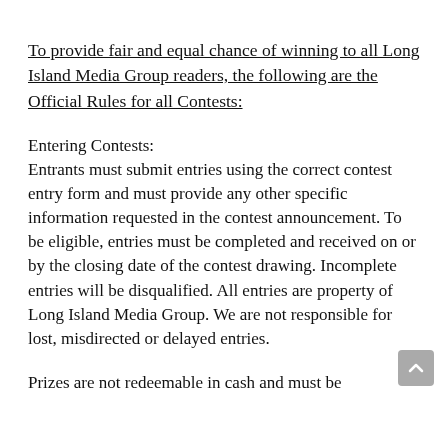To provide fair and equal chance of winning to all Long Island Media Group readers, the following are the Official Rules for all Contests:
Entering Contests:
Entrants must submit entries using the correct contest entry form and must provide any other specific information requested in the contest announcement. To be eligible, entries must be completed and received on or by the closing date of the contest drawing. Incomplete entries will be disqualified. All entries are property of Long Island Media Group. We are not responsible for lost, misdirected or delayed entries.
Prizes are not redeemable in cash and must be